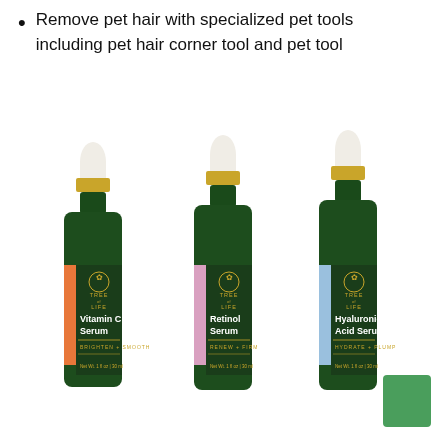Remove pet hair with specialized pet tools including pet hair corner tool and pet tool
[Figure (photo): Three Tree of Life serum bottles with gold dropper caps: Vitamin C Serum (orange accent, Brighten + Smooth, Net Wt. 1 fl oz / 30 ml), Retinol Serum (pink accent, Renew + Firm, Net Wt. 1 fl oz / 30 ml), and Hyaluronic Acid Serum (blue accent, Hydrate + Plump, Net Wt. 1 fl oz / 30 ml). All bottles are dark green glass with gold caps and white droppers.]